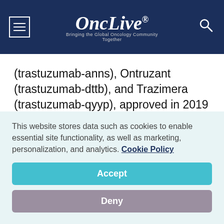OncLive® — Bringing the Global Oncology Community Together
(trastuzumab-anns), Ontruzant (trastuzumab-dttb), and Trazimera (trastuzumab-qyyp), approved in 2019 (Table).
Table. Breast Cancer Indications for Biosimilar Versions of Trastuzumab (Herceptin)
| Biosimilars of trastuzumab (developer) | Approval date |
| --- | --- |
This website stores data such as cookies to enable essential site functionality, as well as marketing, personalization, and analytics. Cookie Policy
Accept
Deny